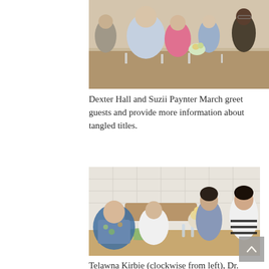[Figure (photo): People seated at a restaurant dining table, seen from the side, with glasses and tableware visible. An older man in a blue shirt is prominent in the foreground.]
Dexter Hall and Suzii Paynter March greet guests and provide more information about tangled titles.
[Figure (photo): Four people seated around a dining table in a restaurant with white tile walls and a floral centerpiece. A woman in a floral top on the left, a woman in white next to her, a young man with dark hair, and a woman in a black-and-white striped top on the right.]
Telawna Kirbie (clockwise from left), Dr. Deneece Ferrales, Carlos Medrano, and Tiffany Gallegos Whitley